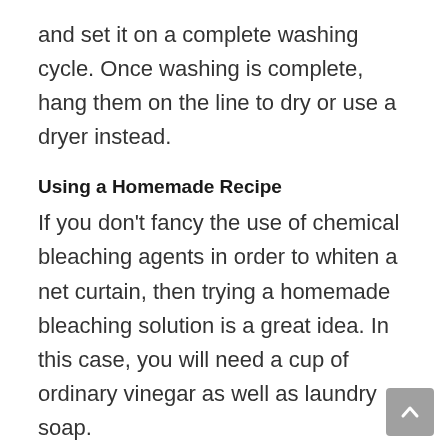and set it on a complete washing cycle. Once washing is complete, hang them on the line to dry or use a dryer instead.
Using a Homemade Recipe
If you don't fancy the use of chemical bleaching agents in order to whiten a net curtain, then trying a homemade bleaching solution is a great idea. In this case, you will need a cup of ordinary vinegar as well as laundry soap.
Apart from serving as the bleaching solution, vinegar is very effective in eliminating any build-up of soap on your fabric. When you are done, hang the curtains to dry or use a dryer.